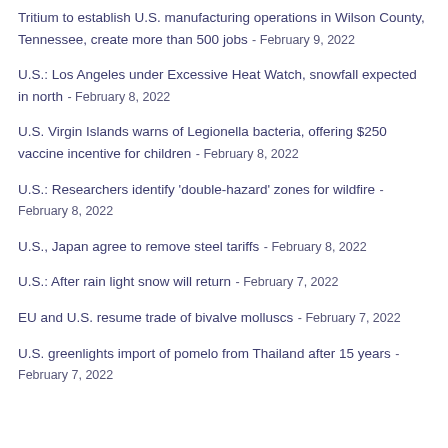Tritium to establish U.S. manufacturing operations in Wilson County, Tennessee, create more than 500 jobs - February 9, 2022
U.S.: Los Angeles under Excessive Heat Watch, snowfall expected in north - February 8, 2022
U.S. Virgin Islands warns of Legionella bacteria, offering $250 vaccine incentive for children - February 8, 2022
U.S.: Researchers identify 'double-hazard' zones for wildfire - February 8, 2022
U.S., Japan agree to remove steel tariffs - February 8, 2022
U.S.: After rain light snow will return - February 7, 2022
EU and U.S. resume trade of bivalve molluscs - February 7, 2022
U.S. greenlights import of pomelo from Thailand after 15 years - February 7, 2022